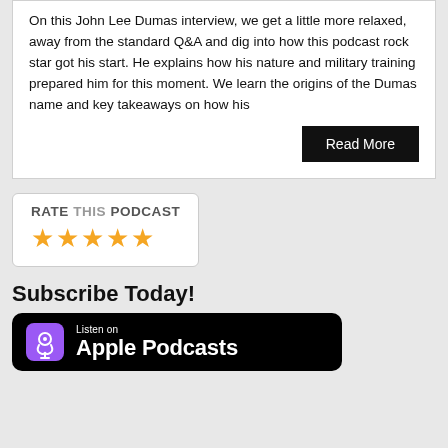On this John Lee Dumas interview, we get a little more relaxed, away from the standard Q&A and dig into how this podcast rock star got his start. He explains how his nature and military training prepared him for this moment. We learn the origins of the Dumas name and key takeaways on how his
Read More
RATE THIS PODCAST ★★★★★
Subscribe Today!
[Figure (logo): Listen on Apple Podcasts badge with purple podcast icon on black background]